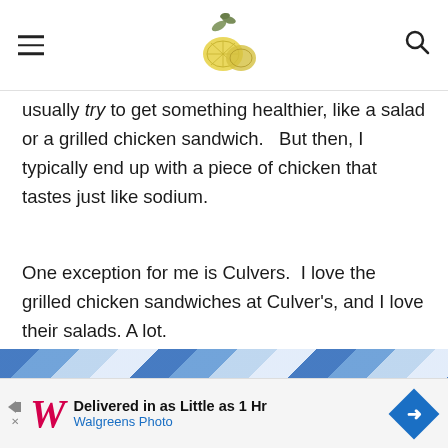[Navigation header with hamburger menu, lemon logo, and search icon]
usually try to get something healthier, like a salad or a grilled chicken sandwich.  But then, I typically end up with a piece of chicken that tastes just like sodium.
One exception for me is Culvers.  I love the grilled chicken sandwiches at Culver's, and I love their salads. A lot.
[Figure (photo): Blue and white patterned background, possibly a table setting with plates]
[Figure (other): Advertisement banner: Walgreens Photo - Delivered in as Little as 1 Hr]